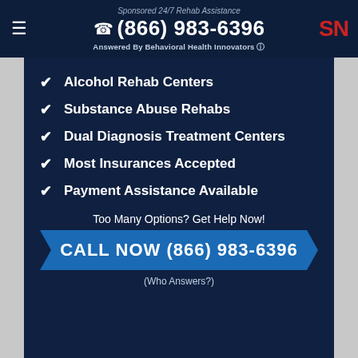Sponsored 24/7 Rehab Assistance | ☎ (866) 983-6396 | Answered By Behavioral Health Innovators
✔ Alcohol Rehab Centers
✔ Substance Abuse Rehabs
✔ Dual Diagnosis Treatment Centers
✔ Most Insurances Accepted
✔ Payment Assistance Available
Too Many Options? Get Help Now!
CALL NOW (866) 983-6396
(Who Answers?)
Find A Rehab In Esopus, NY